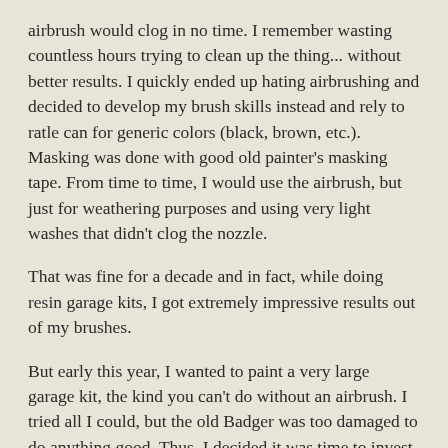airbrush would clog in no time. I remember wasting countless hours trying to clean up the thing... without better results. I quickly ended up hating airbrushing and decided to develop my brush skills instead and rely to ratle can for generic colors (black, brown, etc.). Masking was done with good old painter's masking tape. From time to time, I would use the airbrush, but just for weathering purposes and using very light washes that didn't clog the nozzle.
That was fine for a decade and in fact, while doing resin garage kits, I got extremely impressive results out of my brushes.
But early this year, I wanted to paint a very large garage kit, the kind you can't do without an airbrush. I tried all I could, but the old Badger was too damaged to do anything good. Thus, I decided it was time to invest in good tools. I got myself a gravity-fed Iwata and a new compressor and invested a few bucks in Tamiya paints, thinner and masking tape. That was in January. Unfortunately, I didn't had a chance to use it until this week end.